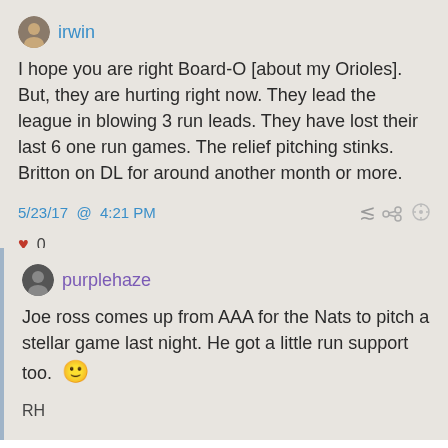irwin
I hope you are right Board-O [about my Orioles]. But, they are hurting right now. They lead the league in blowing 3 run leads. They have lost their last 6 one run games. The relief pitching stinks. Britton on DL for around another month or more.
5/23/17 @ 4:21 PM
0
purplehaze
Joe ross comes up from AAA for the Nats to pitch a stellar game last night. He got a little run support too. 🙂
RH